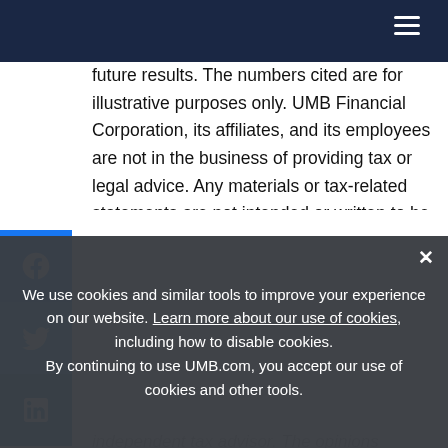future results. The numbers cited are for illustrative purposes only. UMB Financial Corporation, its affiliates, and its employees are not in the business of providing tax or legal advice. Any materials or tax-related statements are not intended or written to be used, and cannot be used or relied upon, by any such taxpayer for the purpose of avoiding tax penalties. Any such taxpayer should seek advice based on the taxpayer's particular circumstances from an independent tax advisor. The opinions expressed
We use cookies and similar tools to improve your experience on our website. Learn more about our use of cookies, including how to disable cookies. By continuing to use UMB.com, you accept our use of cookies and other tools.
Financial Corporation.